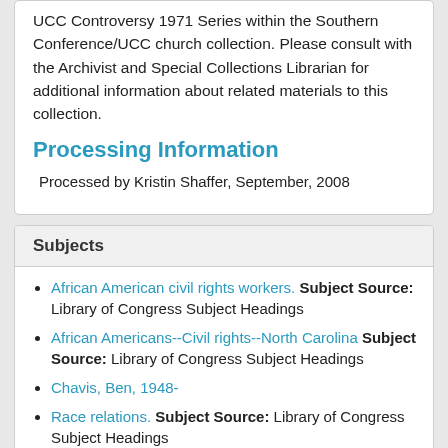UCC Controversy 1971 Series within the Southern Conference/UCC church collection. Please consult with the Archivist and Special Collections Librarian for additional information about related materials to this collection.
Processing Information
Processed by Kristin Shaffer, September, 2008
Subjects
African American civil rights workers. Subject Source: Library of Congress Subject Headings
African Americans--Civil rights--North Carolina Subject Source: Library of Congress Subject Headings
Chavis, Ben, 1948-
Race relations. Subject Source: Library of Congress Subject Headings
Riots--North Carolina--Wilmington--History-